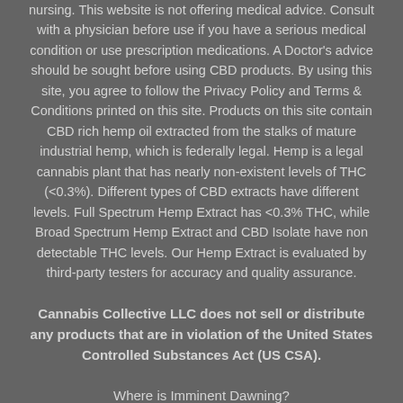nursing. This website is not offering medical advice. Consult with a physician before use if you have a serious medical condition or use prescription medications. A Doctor's advice should be sought before using CBD products. By using this site, you agree to follow the Privacy Policy and Terms & Conditions printed on this site. Products on this site contain CBD rich hemp oil extracted from the stalks of mature industrial hemp, which is federally legal. Hemp is a legal cannabis plant that has nearly non-existent levels of THC (<0.3%). Different types of CBD extracts have different levels. Full Spectrum Hemp Extract has <0.3% THC, while Broad Spectrum Hemp Extract and CBD Isolate have non detectable THC levels. Our Hemp Extract is evaluated by third-party testers for accuracy and quality assurance.
Cannabis Collective LLC does not sell or distribute any products that are in violation of the United States Controlled Substances Act (US CSA).
Where is Imminent Dawning?